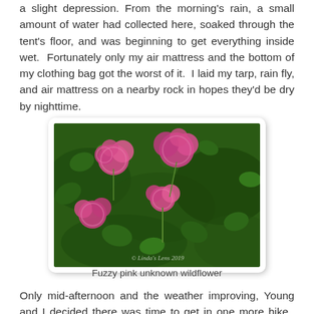a slight depression. From the morning's rain, a small amount of water had collected here, soaked through the tent's floor, and was beginning to get everything inside wet.  Fortunately only my air mattress and the bottom of my clothing bag got the worst of it.  I laid my tarp, rain fly, and air mattress on a nearby rock in hopes they'd be dry by nighttime.
[Figure (photo): Close-up photograph of fuzzy pink unknown wildflowers surrounded by green leaves, with watermark '© Linda's Lens 2019' in the lower right corner.]
Fuzzy pink unknown wildflower
Only mid-afternoon and the weather improving, Young and I decided there was time to get in one more hike.  Chatting